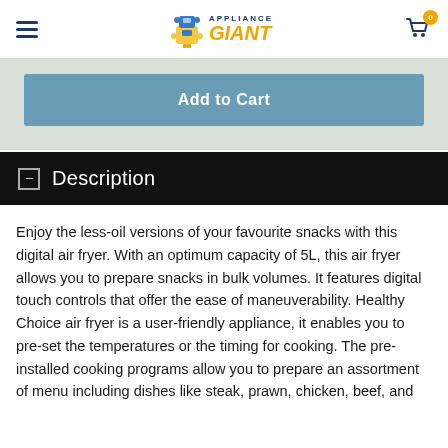[Figure (logo): Appliance Giant logo with cartoon mascot character, text reads APPLIANCE GIANT]
[Figure (infographic): Add to Cart button in steel blue on light green background]
Description
Enjoy the less-oil versions of your favourite snacks with this digital air fryer. With an optimum capacity of 5L, this air fryer allows you to prepare snacks in bulk volumes. It features digital touch controls that offer the ease of maneuverability. Healthy Choice air fryer is a user-friendly appliance, it enables you to pre-set the temperatures or the timing for cooking. The pre-installed cooking programs allow you to prepare an assortment of menu including dishes like steak, prawn, chicken, beef, and